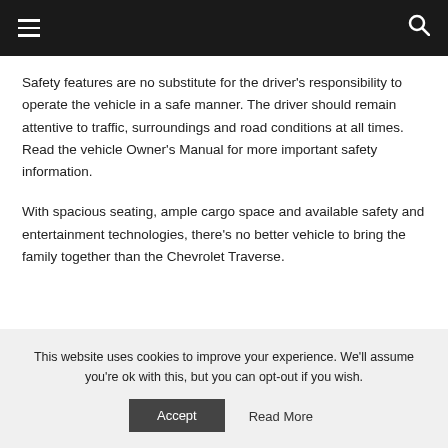☰  🔍
Safety features are no substitute for the driver's responsibility to operate the vehicle in a safe manner. The driver should remain attentive to traffic, surroundings and road conditions at all times. Read the vehicle Owner's Manual for more important safety information.
With spacious seating, ample cargo space and available safety and entertainment technologies, there's no better vehicle to bring the family together than the Chevrolet Traverse.
This website uses cookies to improve your experience. We'll assume you're ok with this, but you can opt-out if you wish.
Accept   Read More